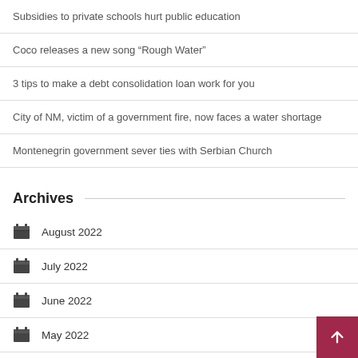Subsidies to private schools hurt public education
Coco releases a new song “Rough Water”
3 tips to make a debt consolidation loan work for you
City of NM, victim of a government fire, now faces a water shortage
Montenegrin government sever ties with Serbian Church
Archives
August 2022
July 2022
June 2022
May 2022